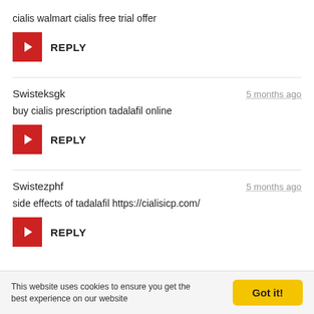cialis walmart cialis free trial offer
REPLY
Swisteksgk
5 months ago
buy cialis prescription tadalafil online
REPLY
Swistezphf
5 months ago
side effects of tadalafil https://cialisicp.com/
REPLY
This website uses cookies to ensure you get the best experience on our website